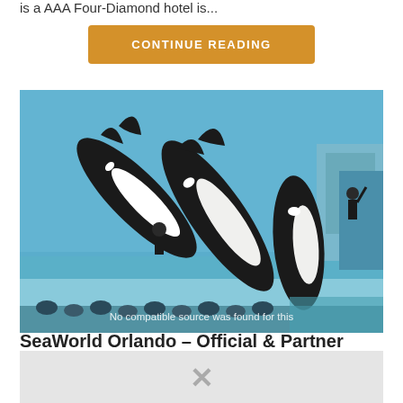is a AAA Four-Diamond hotel is...
CONTINUE READING
[Figure (photo): Overhead view of orca whales performing at SeaWorld with trainers on poolside, blue water in pool, audience visible at bottom]
No compatible source was found for this
SeaWorld Orlando – Official & Partner